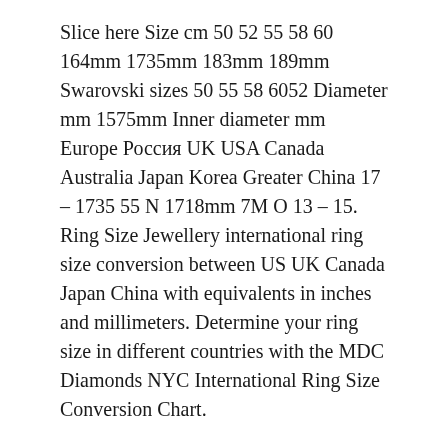Slice here Size cm 50 52 55 58 60 164mm 1735mm 183mm 189mm Swarovski sizes 50 55 58 6052 Diameter mm 1575mm Inner diameter mm Europe Россия UK USA Canada Australia Japan Korea Greater China 17 – 1735 55 N 1718mm 7M O 13 – 15. Ring Size Jewellery international ring size conversion between US UK Canada Japan China with equivalents in inches and millimeters. Determine your ring size in different countries with the MDC Diamonds NYC International Ring Size Conversion Chart.
Use our Ring-Converter application to select the diameter and find your ring size. C...